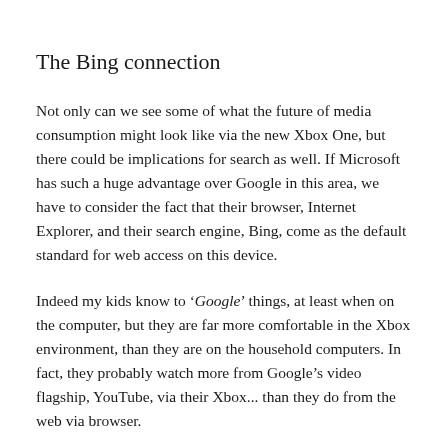The Bing connection
Not only can we see some of what the future of media consumption might look like via the new Xbox One, but there could be implications for search as well. If Microsoft has such a huge advantage over Google in this area, we have to consider the fact that their browser, Internet Explorer, and their search engine, Bing, come as the default standard for web access on this device.
Indeed my kids know to ‘Google’ things, at least when on the computer, but they are far more comfortable in the Xbox environment, than they are on the household computers. In fact, they probably watch more from Google’s video flagship, YouTube, via their Xbox... than they do from the web via browser.